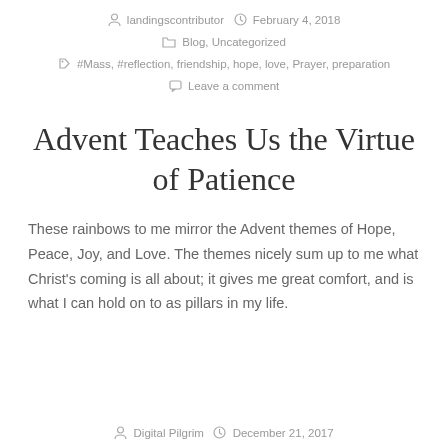landingscontributor  February 4, 2018  Blog, Uncategorized  #Mass, #reflection, friendship, hope, love, Prayer, preparation  Leave a comment
Advent Teaches Us the Virtue of Patience
These rainbows to me mirror the Advent themes of Hope, Peace, Joy, and Love. The themes nicely sum up to me what Christ's coming is all about; it gives me great comfort, and is what I can hold on to as pillars in my life.
Digital Pilgrim  December 21, 2017